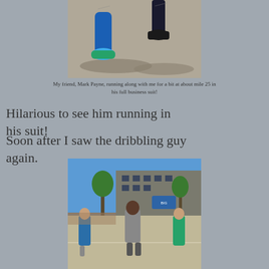[Figure (photo): Close-up photo of runners' legs on pavement, one wearing blue compression socks and colorful shoes, another in dark pants and dress shoes, shadows visible on the ground.]
My friend, Mark Payne, running along with me for a bit at about mile 25 in his full business suit!
Hilarious to see him running in his suit!
Soon after I saw the dribbling guy again.
[Figure (photo): Street scene with marathon runners on an urban road, a building in the background, trees, blue sky, spectators on the sidewalk, and runners in various colorful athletic gear.]